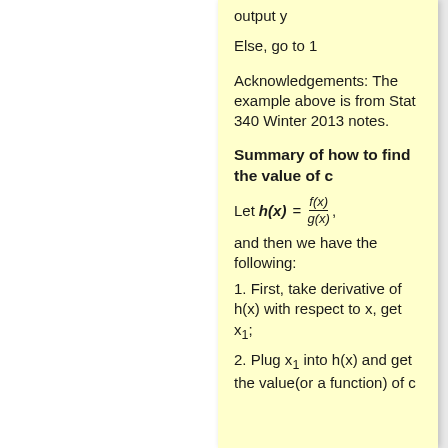output y
Else, go to 1
Acknowledgements: The example above is from Stat 340 Winter 2013 notes.
Summary of how to find the value of c
and then we have the following:
1. First, take derivative of h(x) with respect to x, get x₁;
2. Plug x₁ into h(x) and get the value(or a function) of c